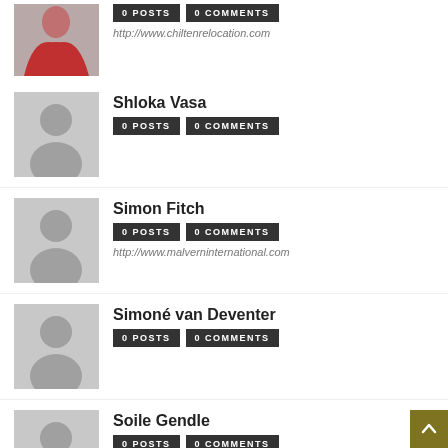[Figure (photo): Partial user profile photo of a woman in red top]
0 POSTS   0 COMMENTS
http://www.chiltenrelocation.com
Shloka Vasa
0 POSTS   0 COMMENTS
[Figure (illustration): Default avatar silhouette placeholder]
Simon Fitch
0 POSTS   0 COMMENTS
http://www.malverninternational.com
[Figure (illustration): Default avatar silhouette placeholder]
Simoné van Deventer
0 POSTS   0 COMMENTS
[Figure (illustration): Default avatar silhouette placeholder]
Soile Gendle
0 POSTS   0 COMMENTS
http://www.petcarriers.com.au
[Figure (illustration): Default avatar silhouette placeholder]
Stefan Watts